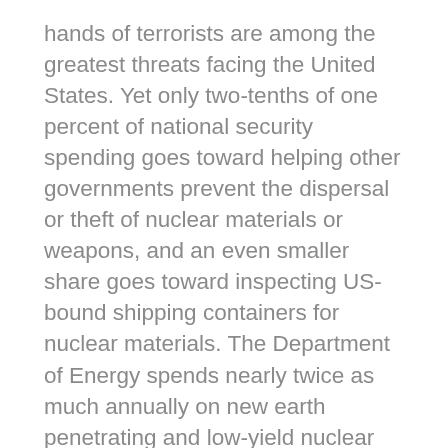hands of terrorists are among the greatest threats facing the United States. Yet only two-tenths of one percent of national security spending goes toward helping other governments prevent the dispersal or theft of nuclear materials or weapons, and an even smaller share goes toward inspecting US-bound shipping containers for nuclear materials. The Department of Energy spends nearly twice as much annually on new earth penetrating and low-yield nuclear weapons as on securing Russian fissile material.
In another example, policymakers sometimes argue that the United States is committed to development assistance that funds